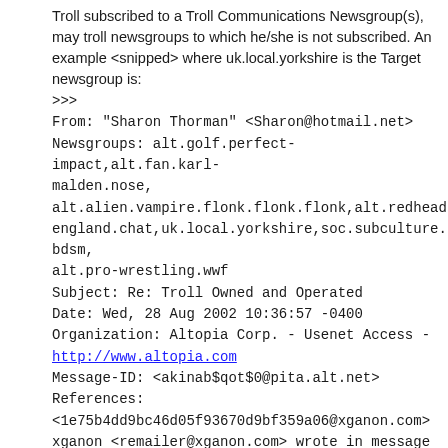Troll subscribed to a Troll Communications Newsgroup(s), may troll newsgroups to which he/she is not subscribed. An example <snipped> where uk.local.yorkshire is the Target newsgroup is:
>>>
From: "Sharon Thorman" <Sharon@hotmail.net>
Newsgroups: alt.golf.perfect-impact,alt.fan.karl-malden.nose,
alt.alien.vampire.flonk.flonk.flonk,alt.redheads,
england.chat,uk.local.yorkshire,soc.subculture.bondage-bdsm,
alt.pro-wrestling.wwf
Subject: Re: Troll Owned and Operated
Date: Wed, 28 Aug 2002 10:36:57 -0400
Organization: Altopia Corp. - Usenet Access - http://www.altopia.com
Message-ID: <akinab$qot$0@pita.alt.net>
References:
<1e75b4dd9bc46d05f93670d9bf359a06@xganon.com>
xganon <remailer@xganon.com> wrote in message
news:1e75b4dd9bc46d05f93670d9bf359a06@xganon.com.